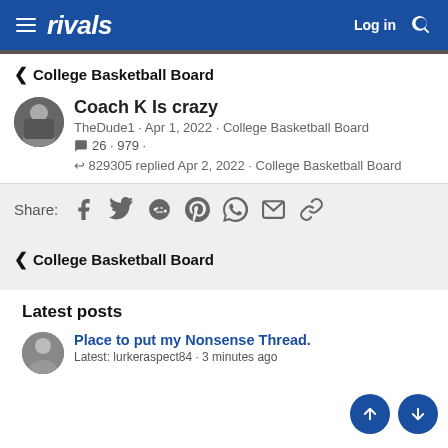rivals · Log in
< College Basketball Board
Coach K Is crazy
TheDude1 · Apr 1, 2022 · College Basketball Board
26 · 979 ·
829305 replied Apr 2, 2022 · College Basketball Board
Share:
< College Basketball Board
Latest posts
Place to put my Nonsense Thread.
Latest: lurkeraspect84 · 3 minutes ago